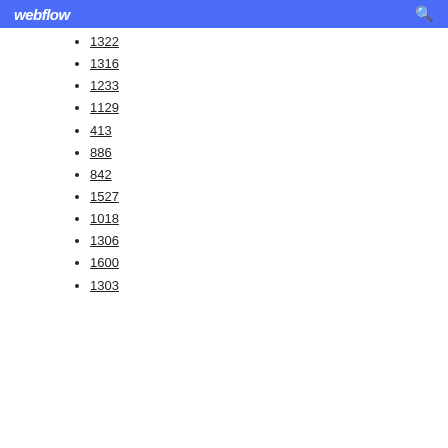webflow
1322
1316
1233
1129
413
886
842
1527
1018
1306
1600
1303